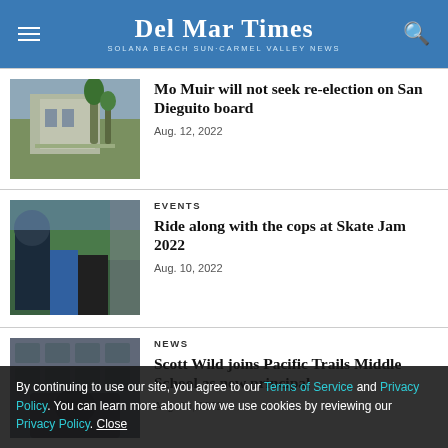Del Mar Times — Solana Beach Sun·Carmel Valley News
[Figure (photo): Exterior of a building with palm trees, parking lot visible]
Mo Muir will not seek re-election on San Dieguito board
Aug. 12, 2022
[Figure (photo): Three people posing together at an outdoor event, one in police uniform]
EVENTS
Ride along with the cops at Skate Jam 2022
Aug. 10, 2022
[Figure (photo): Partial view of a school building exterior]
NEWS
Scott Wild joins Pacific Trails Middle School as new principal
Aug. 10, 2022
By continuing to use our site, you agree to our Terms of Service and Privacy Policy. You can learn more about how we use cookies by reviewing our Privacy Policy. Close